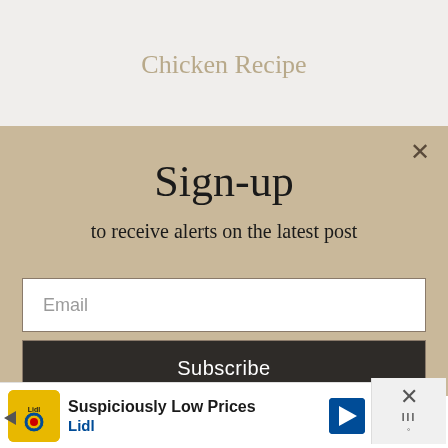Chicken Recipe
Sign-up
to receive alerts on the latest post
Email
Subscribe
By subscribing to our newsletter you agree to our Terms and Conditions and Privacy Policy
[Figure (screenshot): Advertisement banner for Lidl with text 'Suspiciously Low Prices' and navigation arrow icon]